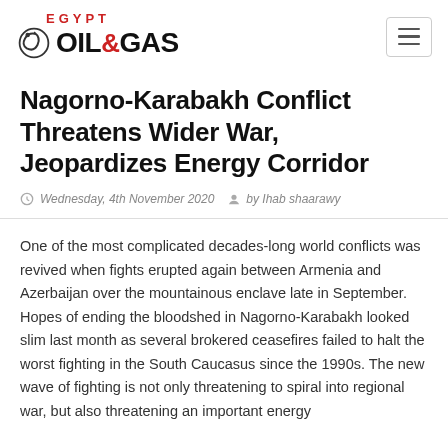[Figure (logo): Egypt Oil & Gas logo with swirl icon, EGYPT in red above OIL&GAS in black bold]
Nagorno-Karabakh Conflict Threatens Wider War, Jeopardizes Energy Corridor
Wednesday, 4th November 2020   by Ihab shaarawy
One of the most complicated decades-long world conflicts was revived when fights erupted again between Armenia and Azerbaijan over the mountainous enclave late in September. Hopes of ending the bloodshed in Nagorno-Karabakh looked slim last month as several brokered ceasefires failed to halt the worst fighting in the South Caucasus since the 1990s. The new wave of fighting is not only threatening to spiral into regional war, but also threatening an important energy